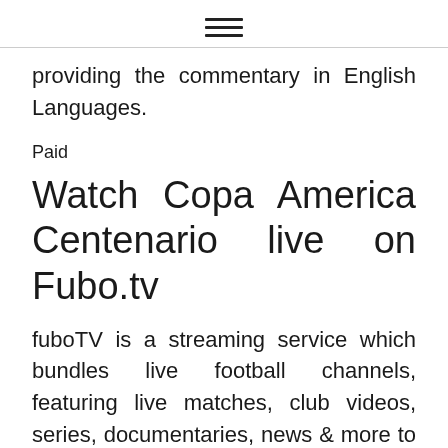≡
providing the commentary in English Languages.
Paid
Watch Copa America Centenario live on Fubo.tv
fuboTV is a streaming service which bundles live football channels, featuring live matches, club videos, series, documentaries, news & more to TVs, gaming consoles and mobile